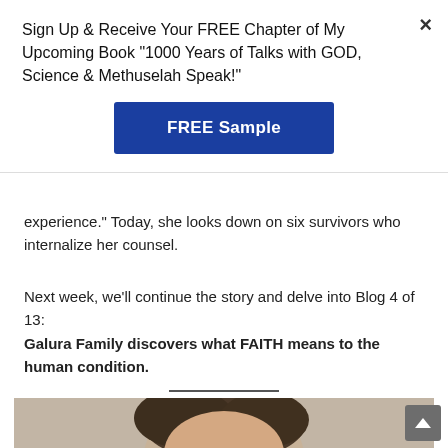Sign Up & Receive Your FREE Chapter of My Upcoming Book "1000 Years of Talks with GOD, Science & Methuselah Speak!"
FREE Sample
experience." Today, she looks down on six survivors who internalize her counsel.
Next week, we'll continue the story and delve into Blog 4 of 13: Galura Family discovers what FAITH means to the human condition.
[Figure (photo): Author photo showing a person with dark hair, partial view, against a neutral background]
×